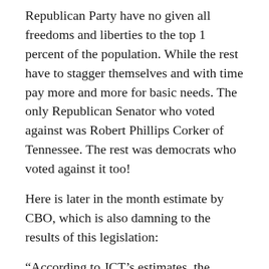Republican Party have no given all freedoms and liberties to the top 1 percent of the population. While the rest have to stagger themselves and with time pay more and more for basic needs. The only Republican Senator who voted against was Robert Phillips Corker of Tennessee. The rest was democrats who voted against it too!
Here is later in the month estimate by CBO, which is also damning to the results of this legislation:
“According to JCT’s estimates, the largest revenue reductions would result from the provision that would modify income tax rates and brackets: Revenues would fall by $1,165 billion and outlays for refundable tax credits would increase by $9 billion over the 2018-2027 period. The increase in the standard deduction would reduce